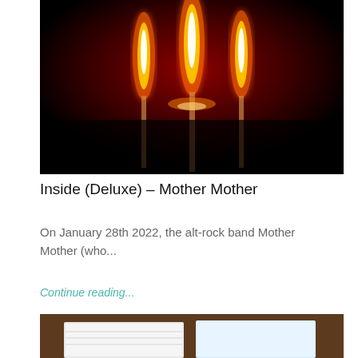[Figure (photo): Three candle flames glowing against a dark red and black background, dramatic lighting]
Inside (Deluxe) – Mother Mother
On January 28th 2022, the alt-rock band Mother Mother (who...
Continue reading...
[Figure (photo): Partial view of an open book or magazine on a wooden surface]